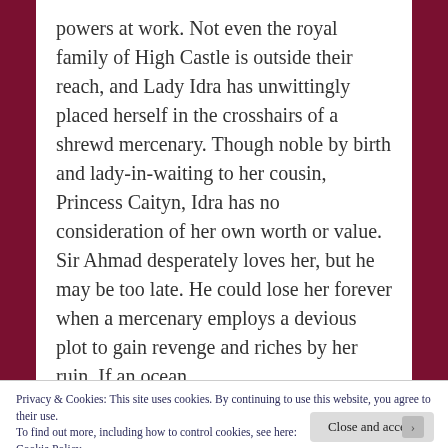powers at work. Not even the royal family of High Castle is outside their reach, and Lady Idra has unwittingly placed herself in the crosshairs of a shrewd mercenary. Though noble by birth and lady-in-waiting to her cousin, Princess Caityn, Idra has no consideration of her own worth or value. Sir Ahmad desperately loves her, but he may be too late. He could lose her forever when a mercenary employs a devious plot to gain revenge and riches by her ruin. If an ocean
Privacy & Cookies: This site uses cookies. By continuing to use this website, you agree to their use.
To find out more, including how to control cookies, see here: Cookie Policy